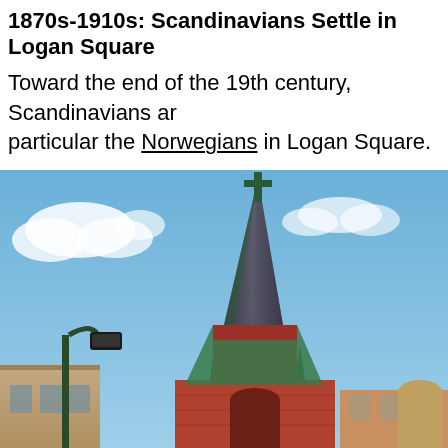1870s-1910s: Scandinavians Settle in Logan Square
Toward the end of the 19th century, Scandinavians and in particular the Norwegians in Logan Square.
[Figure (photo): Photograph of a church steeple with a cross at top, dark slate-colored spire with green copper accents, red brick church building visible at base, street lamp in foreground left, blue sky with clouds in background, urban Logan Square Chicago neighborhood setting.]